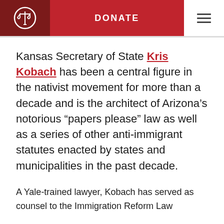DONATE
Kansas Secretary of State Kris Kobach has been a central figure in the nativist movement for more than a decade and is the architect of Arizona's notorious “papers please” law as well as a series of other anti-immigrant statutes enacted by states and municipalities in the past decade.
A Yale-trained lawyer, Kobach has served as counsel to the Immigration Reform Law